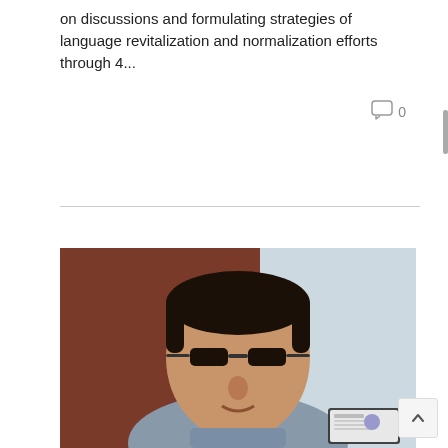on discussions and formulating strategies of language revitalization and normalization efforts through 4...
0
[Figure (photo): A man wearing glasses and a grey collared shirt sits in front of a dark reddish-brown curtain background during a video call. A small thumbnail of a presentation slide is visible in the bottom-right corner of the video.]